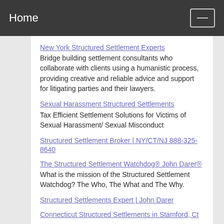Home
New York Structured Settlement Experts
Bridge building settlement consultants who collaborate with clients using a humanistic process, providing creative and reliable advice and support for litigating parties and their lawyers.
Sexual Harassment Structured Settlements
Tax Efficient Settlement Solutions for Victims of Sexual Harassment/ Sexual Misconduct
Structured Settlement Broker | NY/CT/NJ 888-325-8640
The Structured Settlement Watchdog® John Darer®
What is the mission of the Structured Settlement Watchdog? The Who, The What and The Why.
Structured Settlements Expert | John Darer
Connecticut Structured Settlements in Stamford, Ct